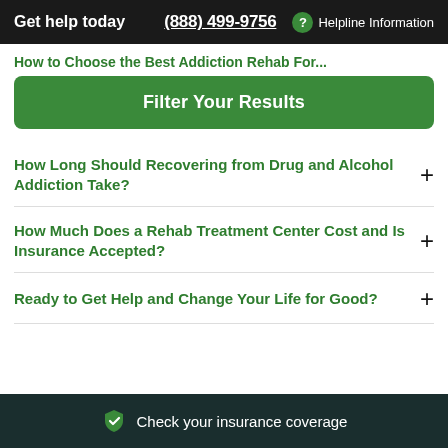Get help today  (888) 499-9756  Helpline Information
How to Choose the Best Addiction Rehab For...
Filter Your Results
How Long Should Recovering from Drug and Alcohol Addiction Take?
How Much Does a Rehab Treatment Center Cost and Is Insurance Accepted?
Ready to Get Help and Change Your Life for Good?
Check your insurance coverage